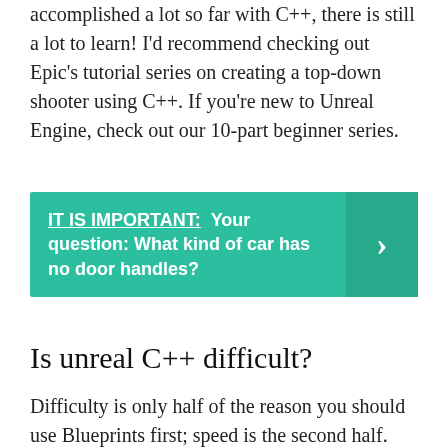accomplished a lot so far with C++, there is still a lot to learn! I'd recommend checking out Epic's tutorial series on creating a top-down shooter using C++. If you're new to Unreal Engine, check out our 10-part beginner series.
IT IS IMPORTANT: Your question: What kind of car has no door handles?
Is unreal C++ difficult?
Difficulty is only half of the reason you should use Blueprints first; speed is the second half. While it is much faster, cleaner, and more maintainable to write lines of native C++ code than it is to string Blueprint